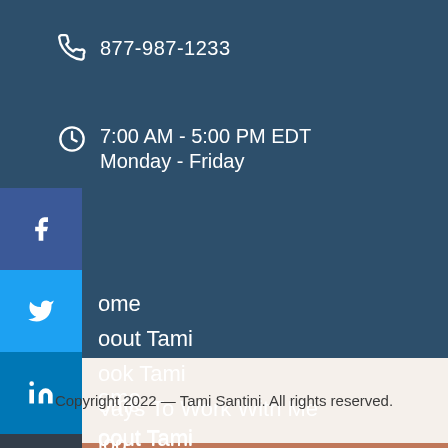877-987-1233
7:00 AM - 5:00 PM EDT
Monday - Friday
Home
About Tami
Book Tami
Ways To Work With Me
Blog
Copyright 2022 — Tami Santini. All rights reserved.